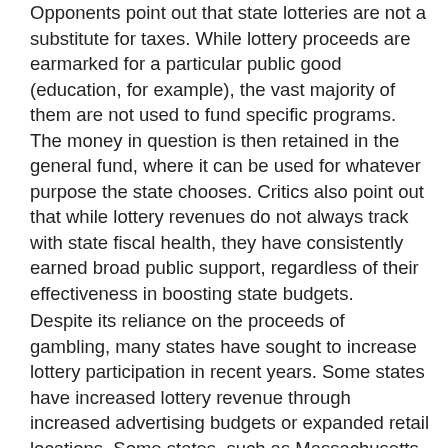Opponents point out that state lotteries are not a substitute for taxes. While lottery proceeds are earmarked for a particular public good (education, for example), the vast majority of them are not used to fund specific programs. The money in question is then retained in the general fund, where it can be used for whatever purpose the state chooses. Critics also point out that while lottery revenues do not always track with state fiscal health, they have consistently earned broad public support, regardless of their effectiveness in boosting state budgets.
Despite its reliance on the proceeds of gambling, many states have sought to increase lottery participation in recent years. Some states have increased lottery revenue through increased advertising budgets or expanded retail locations. Some states, such as Massachusetts, have even tried to make it more accessible to players by creating special programs to help the elderly. In addition to this, Louisiana requires ticket winners to